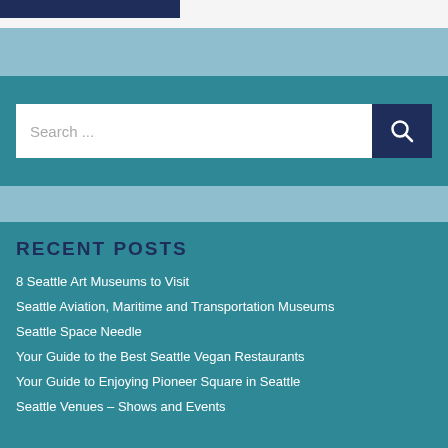[Figure (screenshot): Top bar with dark navy logo/banner element on left]
Search ...
RECENT POSTS
8 Seattle Art Museums to Visit
Seattle Aviation, Maritime and Transportation Museums
Seattle Space Needle
Your Guide to the Best Seattle Vegan Restaurants
Your Guide to Enjoying Pioneer Square in Seattle
Seattle Venues – Shows and Events